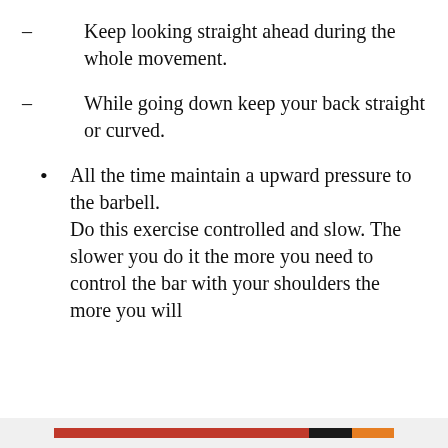– Keep looking straight ahead during the whole movement.
– While going down keep your back straight or curved.
• All the time maintain a upward pressure to the barbell. Do this exercise controlled and slow. The slower you do it the more you need to control the bar with your shoulders the more you will
Privacy & Cookies: This site uses cookies. By continuing to use this website, you agree to their use. To find out more, including how to control cookies, see here: Cookie Policy
Close and accept